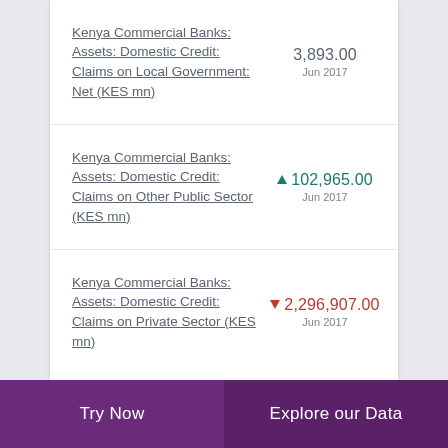Kenya Commercial Banks: Assets: Domestic Credit: Claims on Local Government: Net (KES mn)
Kenya Commercial Banks: Assets: Domestic Credit: Claims on Other Public Sector (KES mn)
Kenya Commercial Banks: Assets: Domestic Credit: Claims on Private Sector (KES mn)
Try Now | Explore our Data